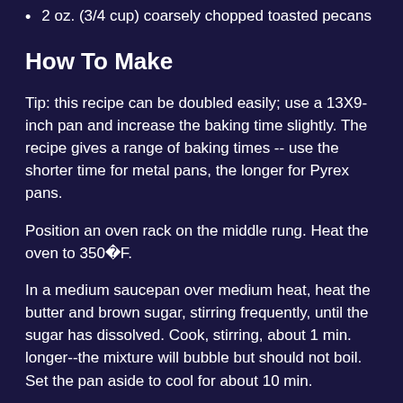2 oz. (3/4 cup) coarsely chopped toasted pecans
How To Make
Tip: this recipe can be doubled easily; use a 13X9-inch pan and increase the baking time slightly. The recipe gives a range of baking times -- use the shorter time for metal pans, the longer for Pyrex pans.
Position an oven rack on the middle rung. Heat the oven to 350�F.
In a medium saucepan over medium heat, heat the butter and brown sugar, stirring frequently, until the sugar has dissolved. Cook, stirring, about 1 min. longer--the mixture will bubble but should not boil. Set the pan aside to cool for about 10 min.
Meanwhile, butter an 8-inch square pan, line the pan bottom with parchment (or waxed paper), and then butter the parchment.
Stir the egg, egg yolk, and vanilla into the cooled sugar mixture. Add the flour, salt, and nuts, stirring just until blended